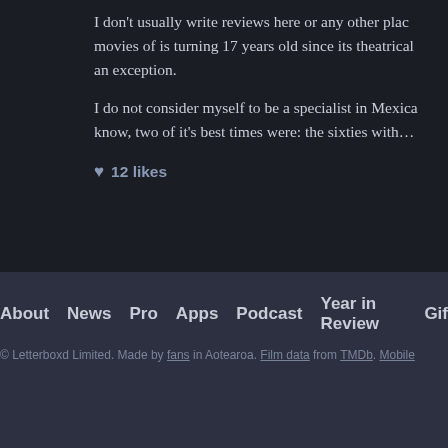I don’t usually write reviews here or any other place, movies of is turning 17 years old since its theatrical an exception.
I do not consider myself to be a specialist in Mexican know, two of it’s best times were: the sixties with…
♥ 12 likes
About  News  Pro  Apps  Podcast  Year in Review  Gif
© Letterboxd Limited. Made by fans in Aotearoa. Film data from TMDb. Mobile